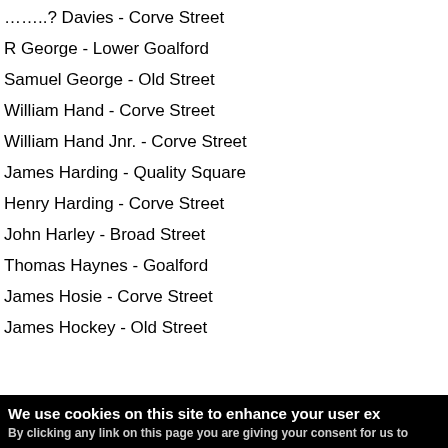……..? Davies - Corve Street
R George - Lower Goalford
Samuel George - Old Street
William Hand - Corve Street
William Hand Jnr. - Corve Street
James Harding - Quality Square
Henry Harding - Corve Street
John Harley - Broad Street
Thomas Haynes - Goalford
James Hosie - Corve Street
James Hockey - Old Street
We use cookies on this site to enhance your user ex…
By clicking any link on this page you are giving your consent for us to…